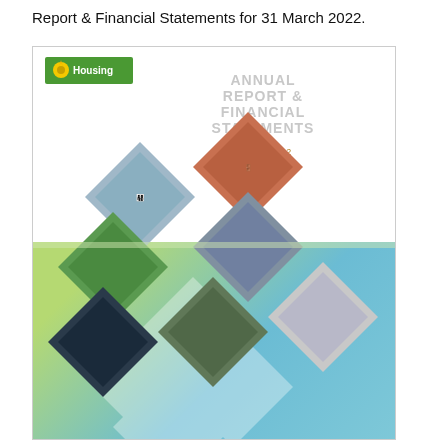Report & Financial Statements for 31 March 2022.
[Figure (illustration): Cover page of Annual Report & Financial Statements 2021/2022 for a Housing organisation. Features a green sunflower logo for 'Housing' in the top left, large light grey text reading 'ANNUAL REPORT & FINANCIAL STATEMENTS' on the right, year '2021/2022' below in gold/tan. Six diamond-shaped photo collages show diverse people including families, a woman smiling, workers, and maintenance staff. The lower portion has a teal/green gradient background with abstract diamond shapes.]